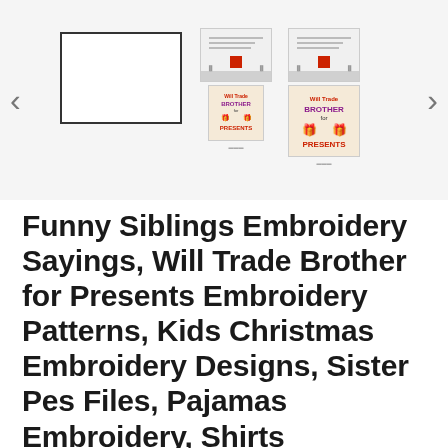[Figure (screenshot): Product image gallery showing embroidery pattern thumbnails: a blank white rectangle (main selected thumbnail with border), two document/stitch pattern sheets, and two views of a 'Will Trade Brother for Presents' Christmas embroidery design on tan background. Navigation arrows on left and right.]
Funny Siblings Embroidery Sayings, Will Trade Brother for Presents Embroidery Patterns, Kids Christmas Embroidery Designs, Sister Pes Files, Pajamas Embroidery, Shirts